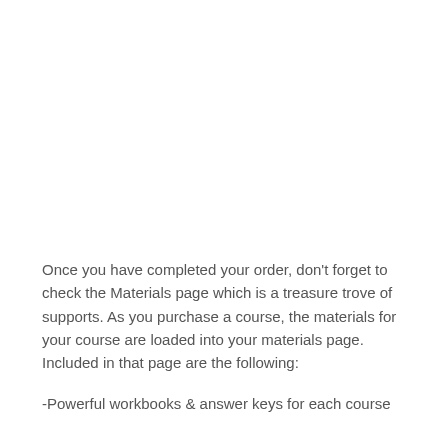Once you have completed your order, don't forget to check the Materials page which is a treasure trove of supports. As you purchase a course, the materials for your course are loaded into your materials page. Included in that page are the following:
-Powerful workbooks & answer keys for each course